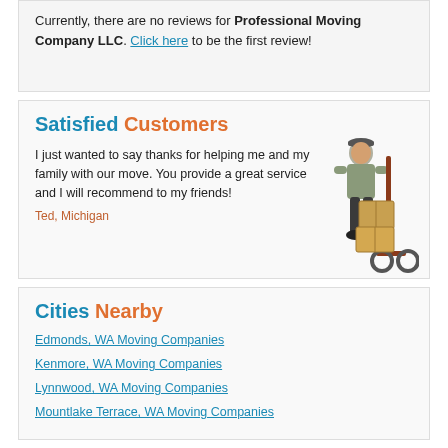Currently, there are no reviews for Professional Moving Company LLC. Click here to be the first review!
Satisfied Customers
I just wanted to say thanks for helping me and my family with our move. You provide a great service and I will recommend to my friends!
Ted, Michigan
[Figure (illustration): Illustration of a mover in uniform leaning on a hand truck with stacked cardboard boxes]
Cities Nearby
Edmonds, WA Moving Companies
Kenmore, WA Moving Companies
Lynnwood, WA Moving Companies
Mountlake Terrace, WA Moving Companies